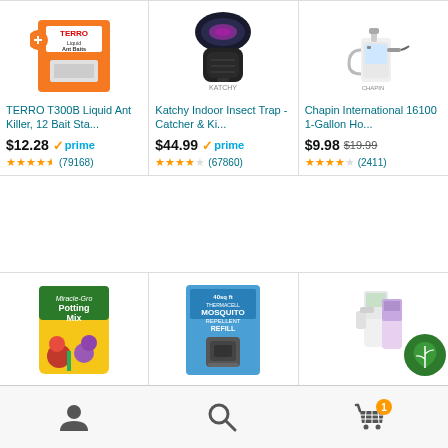[Figure (screenshot): Amazon shopping app product grid showing 6 product listings in 2 rows of 3 columns, with product images, titles, prices, Prime badges, star ratings, and review counts. Bottom navigation bar with account, search, and cart icons.]
TERRO T300B Liquid Ant Killer, 12 Bait Sta...
$12.28 prime (79168 reviews, 4.5 stars)
Katchy Indoor Insect Trap - Catcher & Ki...
$44.99 prime (67860 reviews, 4 stars)
Chapin International 16100 1-Gallon Ho...
$9.98 $19.99 (2411 reviews, 4 stars)
Miracle-Gro Potting Mix 1 cu. ft...
Thermacell Rechargeable Mosq...
Bonide (BND022 - Ro...